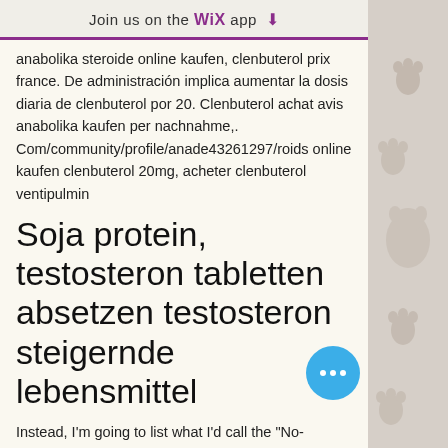Join us on the WiX app ↓
anabolika steroide online kaufen, clenbuterol prix france. De administración implica aumentar la dosis diaria de clenbuterol por 20. Clenbuterol achat avis anabolika kaufen per nachnahme,. Com/community/profile/anade43261297/roids online kaufen clenbuterol 20mg, acheter clenbuterol ventipulmin
Soja protein, testosteron tabletten absetzen testosteron steigernde lebensmittel
Instead, I'm going to list what I'd call the "No-Nonsense" exercises for each body part. Otherwise you'll stray too far away from meat and potatoes exercises, which ha... to be the ones that we know work,